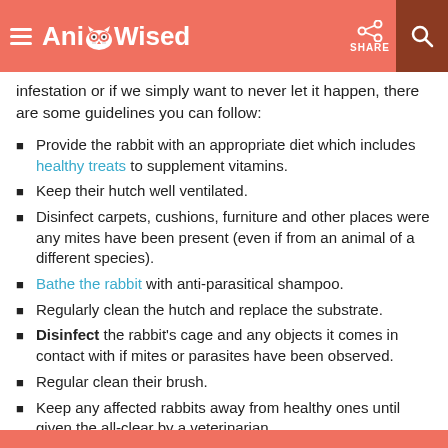AnimalWised | SHARE
infestation or if we simply want to never let it happen, there are some guidelines you can follow:
Provide the rabbit with an appropriate diet which includes healthy treats to supplement vitamins.
Keep their hutch well ventilated.
Disinfect carpets, cushions, furniture and other places were any mites have been present (even if from an animal of a different species).
Bathe the rabbit with anti-parasitical shampoo.
Regularly clean the hutch and replace the substrate.
Disinfect the rabbit's cage and any objects it comes in contact with if mites or parasites have been observed.
Regular clean their brush.
Keep any affected rabbits away from healthy ones until given the all-clear by a veterinarian.